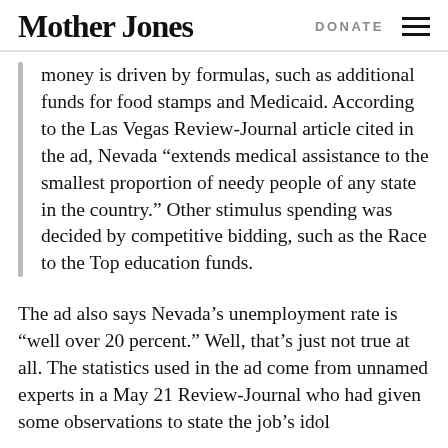Mother Jones   DONATE
money is driven by formulas, such as additional funds for food stamps and Medicaid. According to the Las Vegas Review-Journal article cited in the ad, Nevada “extends medical assistance to the smallest proportion of needy people of any state in the country.” Other stimulus spending was decided by competitive bidding, such as the Race to the Top education funds.
The ad also says Nevada’s unemployment rate is “well over 20 percent.” Well, that’s just not true at all. The statistics used in the ad come from unnamed experts in a May 21 Review-Journal who had given some observations to state the job’s idol